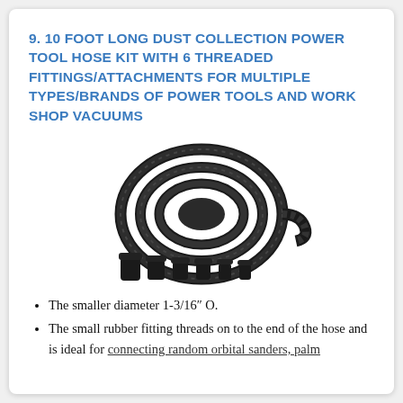9. 10 FOOT LONG DUST COLLECTION POWER TOOL HOSE KIT WITH 6 THREADED FITTINGS/ATTACHMENTS FOR MULTIPLE TYPES/BRANDS OF POWER TOOLS AND WORK SHOP VACUUMS
[Figure (photo): A coiled black corrugated flexible dust collection hose with six black threaded fitting adapters/attachments displayed below it.]
The smaller diameter 1-3/16″ O.
The small rubber fitting threads on to the end of the hose and is ideal for connecting random orbital sanders, palm